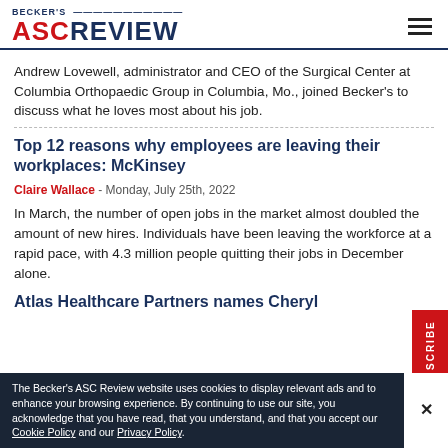BECKER'S ASC REVIEW
Andrew Lovewell, administrator and CEO of the Surgical Center at Columbia Orthopaedic Group in Columbia, Mo., joined Becker's to discuss what he loves most about his job.
Top 12 reasons why employees are leaving their workplaces: McKinsey
Claire Wallace - Monday, July 25th, 2022
In March, the number of open jobs in the market almost doubled the amount of new hires. Individuals have been leaving the workforce at a rapid pace, with 4.3 million people quitting their jobs in December alone.
Atlas Healthcare Partners names Cheryl
The Becker's ASC Review website uses cookies to display relevant ads and to enhance your browsing experience. By continuing to use our site, you acknowledge that you have read, that you understand, and that you accept our Cookie Policy and our Privacy Policy.